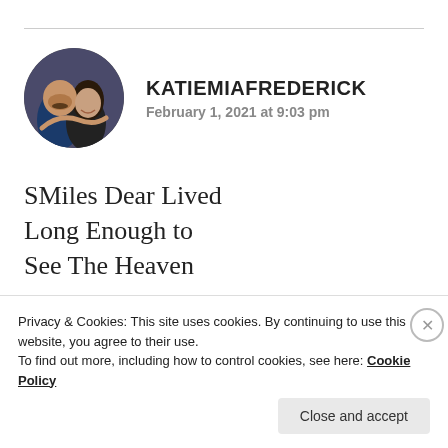[Figure (photo): Circular avatar photo of a man and woman together, smiling]
KATIEMIAFREDERICK
February 1, 2021 at 9:03 pm
SMiles Dear Lived Long Enough to See The Heaven

And Hell

The
Privacy & Cookies: This site uses cookies. By continuing to use this website, you agree to their use.
To find out more, including how to control cookies, see here: Cookie Policy
Close and accept